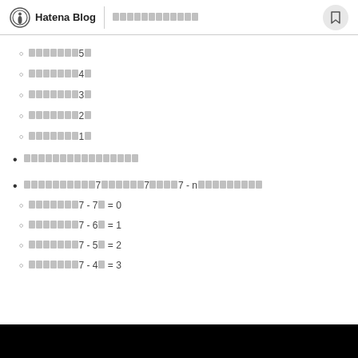Hatena Blog | [navigation text]
[item]5[char]
[item]4[char]
[item]3[char]
[item]2[char]
[item]1[char]
[item text block]
[item text]7[text]7[text]7 - n[text]
[item]7 - 7[char] = 0
[item]7 - 6[char] = 1
[item]7 - 5[char] = 2
[item]7 - 4[char] = 3